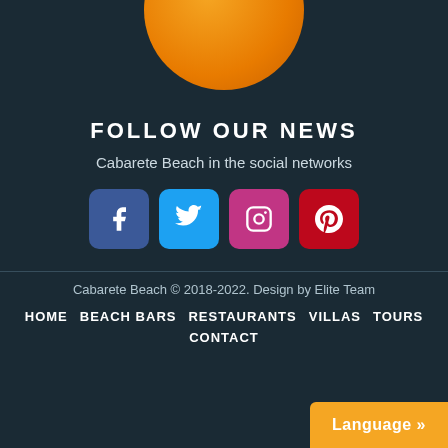[Figure (logo): Cabarete Beach logo with orange circle and red BEACH text banner]
FOLLOW OUR NEWS
Cabarete Beach in the social networks
[Figure (infographic): Social media icons: Facebook, Twitter, Instagram, Pinterest]
Cabarete Beach © 2018-2022. Design by Elite Team
HOME
BEACH BARS
RESTAURANTS
VILLAS
TOURS
CONTACT
Language »